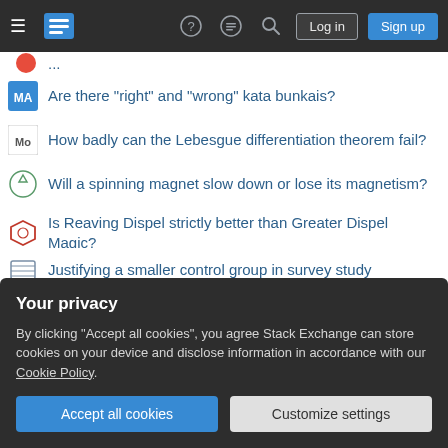Stack Exchange navigation bar with hamburger menu, logo, help, chat, search icons, Log in and Sign up buttons
Are there "right" and "wrong" kata bunkais?
How badly can the Lebesgue differentiation theorem fail?
Will a spinning magnet slow down or lose its magnetism?
Is Reaving Dispel strictly better than Greater Dispel Magic?
Justifying a smaller control group in survey study
Which (if any) space telescope would have worked longer if it hadn't simply run out of helium?
Goat racing up a hill (C++ hiring take-home)
Copyright transcription of public domain music?
Your privacy
By clicking "Accept all cookies", you agree Stack Exchange can store cookies on your device and disclose information in accordance with our Cookie Policy.